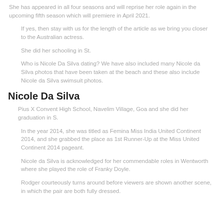She has appeared in all four seasons and will reprise her role again in the upcoming fifth season which will premiere in April 2021.
If yes, then stay with us for the length of the article as we bring you closer to the Australian actress.
She did her schooling in St.
Who is Nicole Da Silva dating? We have also included many Nicole da Silva photos that have been taken at the beach and these also include Nicole da Silva swimsuit photos.
Nicole Da Silva
Pius X Convent High School, Navelim Village, Goa and she did her graduation in S.
In the year 2014, she was titled as Femina Miss India United Continent 2014, and she grabbed the place as 1st Runner-Up at the Miss United Continent 2014 pageant.
Nicole da Silva is acknowledged for her commendable roles in Wentworth where she played the role of Franky Doyle.
Rodger courteously turns around before viewers are shown another scene, in which the pair are both fully dressed.